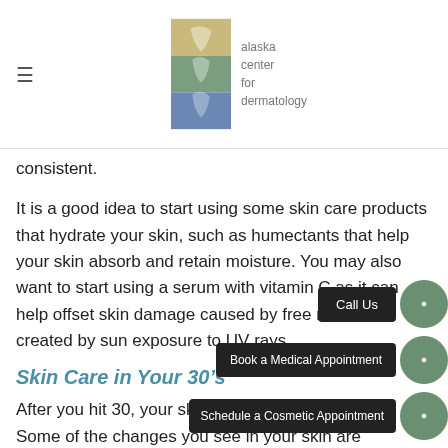alaska center for dermatology
consistent.
It is a good idea to start using some skin care products that hydrate your skin, such as humectants that help your skin absorb and retain moisture. You may also want to start using a serum with vitamin C as it can help offset skin damage caused by free radicals created by sun exposure to UV rays.
Skin Care in Your 30’s
After you hit 30, your skin begins to change a bit. Some of the changes you see in your skin are because its hydration and regeneration slow down a bit. As a result, your 30’s are a great time to start using retinol products, which boost the collagen your body makes and plumps out